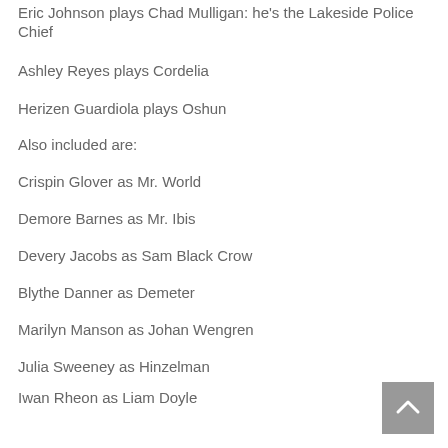Eric Johnson plays Chad Mulligan: he's the Lakeside Police Chief
Ashley Reyes plays Cordelia
Herizen Guardiola plays Oshun
Also included are:
Crispin Glover as Mr. World
Demore Barnes as Mr. Ibis
Devery Jacobs as Sam Black Crow
Blythe Danner as Demeter
Marilyn Manson as Johan Wengren
Julia Sweeney as Hinzelman
Iwan Rheon as Liam Doyle
Danny Trejo as Mr. World
Peter Stormare as Czernobog
Denis O'Hare as Tyr